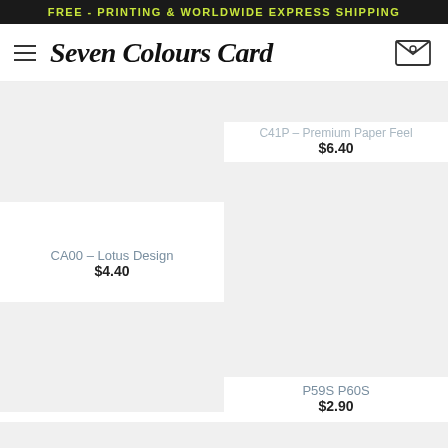FREE - PRINTING & WORLDWIDE EXPRESS SHIPPING
Seven Colours Card
C41P – Premium Paper Feel
$6.40
[Figure (photo): Product image placeholder left top]
CA00 – Lotus Design
$4.40
[Figure (photo): Product image placeholder right middle]
[Figure (photo): Product image placeholder left bottom]
P59S P60S
$2.90
[Figure (photo): Product image placeholder right bottom partial]
[Figure (photo): Product image placeholder left bottom partial]